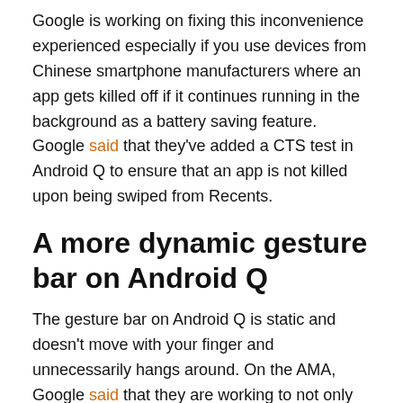Google is working on fixing this inconvenience experienced especially if you use devices from Chinese smartphone manufacturers where an app gets killed off if it continues running in the background as a battery saving feature. Google said that they've added a CTS test in Android Q to ensure that an app is not killed upon being swiped from Recents.
A more dynamic gesture bar on Android Q
The gesture bar on Android Q is static and doesn't move with your finger and unnecessarily hangs around. On the AMA, Google said that they are working to not only make the navigation bar less static but also balance where it appears or disappears.
Third-party launchers will